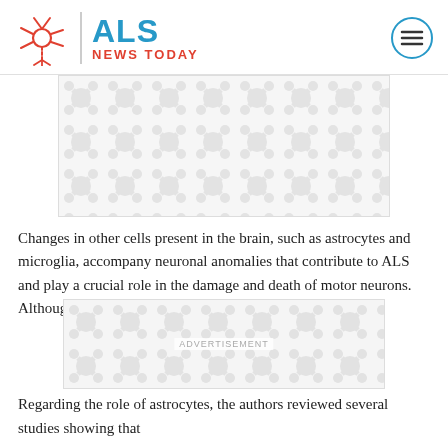ALS NEWS TODAY
[Figure (other): ALS News Today logo with neuron icon and red/blue text]
[Figure (other): Advertisement placeholder with decorative neuron/cell pattern (top)]
Changes in other cells present in the brain, such as astrocytes and microglia, accompany neuronal anomalies that contribute to ALS and play a crucial role in the damage and death of motor neurons. Although their activity is fundamental for neuronal health under physiological conditions, in ALS...
[Figure (other): Advertisement placeholder with decorative neuron/cell pattern (inline)]
Regarding the role of astrocytes, the authors reviewed several studies showing that